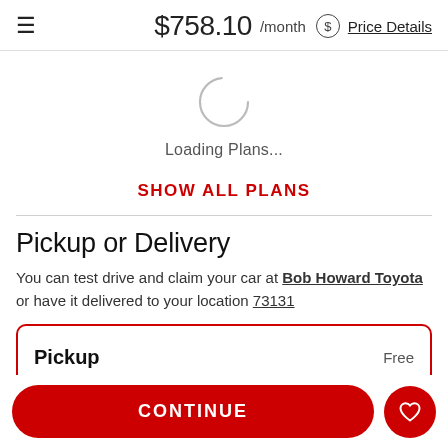≡   $758.10 /month ⊙ Price Details
[Figure (illustration): Circular loading spinner (partially drawn circle indicating loading state)]
Loading Plans...
SHOW ALL PLANS
Pickup or Delivery
You can test drive and claim your car at Bob Howard Toyota or have it delivered to your location 73131
Pickup   Free
CONTINUE